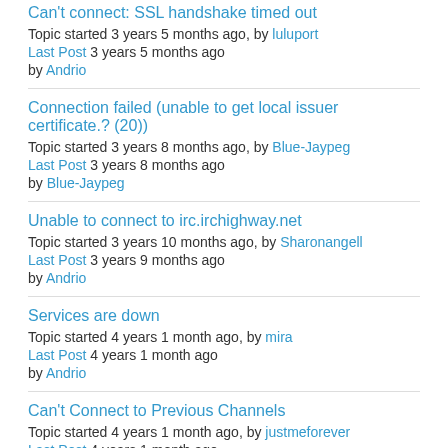Can't connect: SSL handshake timed out
Topic started 3 years 5 months ago, by luluport
Last Post 3 years 5 months ago
by Andrio
Connection failed (unable to get local issuer certificate.? (20))
Topic started 3 years 8 months ago, by Blue-Jaypeg
Last Post 3 years 8 months ago
by Blue-Jaypeg
Unable to connect to irc.irchighway.net
Topic started 3 years 10 months ago, by Sharonangell
Last Post 3 years 9 months ago
by Andrio
Services are down
Topic started 4 years 1 month ago, by mira
Last Post 4 years 1 month ago
by Andrio
Can't Connect to Previous Channels
Topic started 4 years 1 month ago, by justmeforever
Last Post 4 years 1 month ago